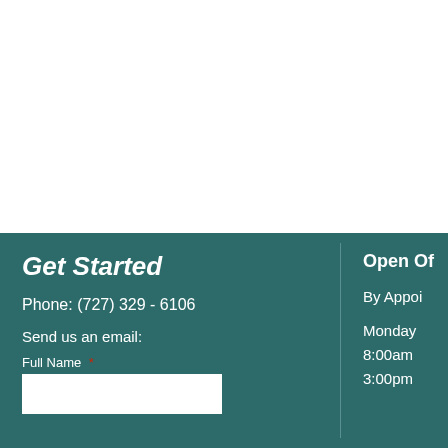Get Started
Phone:  (727) 329 - 6106
Send us an email:
Full Name *
Open Of
By Appoi
Monday
8:00am
3:00pm